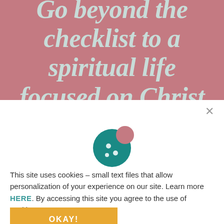Go beyond the checklist to a spiritual life focused on Christ
[Figure (illustration): Cookie icon — a round teal cookie with bite taken out of the top-right, and three circular spots on its face]
This site uses cookies – small text files that allow personalization of your experience on our site. Learn more HERE. By accessing this site you agree to the use of cookies.
OKAY!